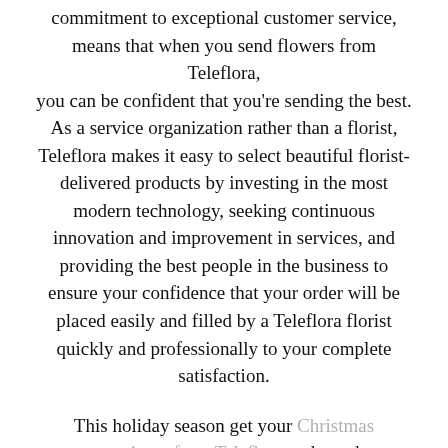commitment to exceptional customer service, means that when you send flowers from Teleflora, you can be confident that you're sending the best. As a service organization rather than a florist, Teleflora makes it easy to select beautiful florist-delivered products by investing in the most modern technology, seeking continuous innovation and improvement in services, and providing the best people in the business to ensure your confidence that your order will be placed easily and filled by a Teleflora florist quickly and professionally to your complete satisfaction.

This holiday season get your Christmas centerpieces from Teleflora and use the